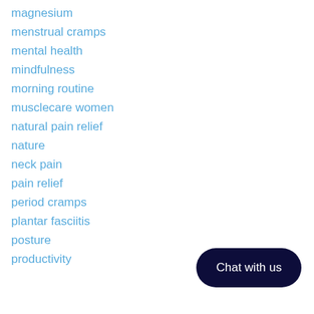magnesium
menstrual cramps
mental health
mindfulness
morning routine
musclecare women
natural pain relief
nature
neck pain
pain relief
period cramps
plantar fasciitis
posture
productivity
Chat with us